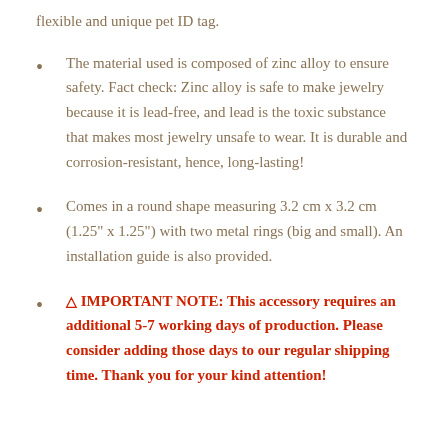flexible and unique pet ID tag.
The material used is composed of zinc alloy to ensure safety. Fact check: Zinc alloy is safe to make jewelry because it is lead-free, and lead is the toxic substance that makes most jewelry unsafe to wear. It is durable and corrosion-resistant, hence, long-lasting!
Comes in a round shape measuring 3.2 cm x 3.2 cm (1.25" x 1.25") with two metal rings (big and small). An installation guide is also provided.
⚠ IMPORTANT NOTE: This accessory requires an additional 5-7 working days of production. Please consider adding those days to our regular shipping time. Thank you for your kind attention!